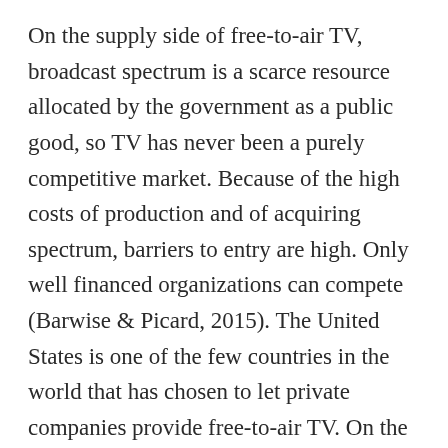On the supply side of free-to-air TV, broadcast spectrum is a scarce resource allocated by the government as a public good, so TV has never been a purely competitive market. Because of the high costs of production and of acquiring spectrum, barriers to entry are high. Only well financed organizations can compete (Barwise & Picard, 2015). The United States is one of the few countries in the world that has chosen to let private companies provide free-to-air TV. On the demand side, because consumers pay nothing, they have limited choices among products. Advertisers have heavy influence on programming, which results in “a restricted range of easy-viewing programs” that cost little to